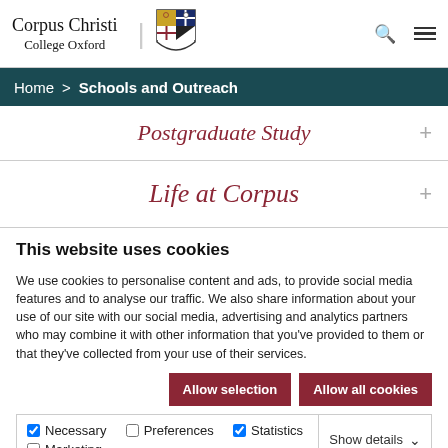Corpus Christi College Oxford
Home > Schools and Outreach
Postgraduate Study
Life at Corpus
This website uses cookies
We use cookies to personalise content and ads, to provide social media features and to analyse our traffic. We also share information about your use of our site with our social media, advertising and analytics partners who may combine it with other information that you've provided to them or that they've collected from your use of their services.
Allow selection | Allow all cookies
Necessary  Preferences  Statistics  Marketing  Show details